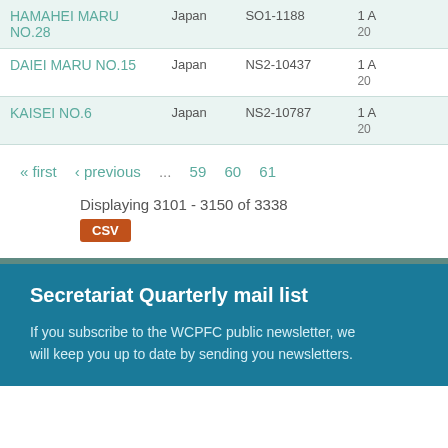| Vessel Name | Country | Registration | Date |
| --- | --- | --- | --- |
| HAMAHEI MARU NO.28 | Japan | SO1-1188 | 1 A
20 |
| DAIEI MARU NO.15 | Japan | NS2-10437 | 1 A
20 |
| KAISEI NO.6 | Japan | NS2-10787 | 1 A
20 |
« first  ‹ previous  ...  59  60  61
Displaying 3101 - 3150 of 3338
CSV
Secretariat Quarterly mail list
If you subscribe to the WCPFC public newsletter, we will keep you up to date by sending you newsletters.